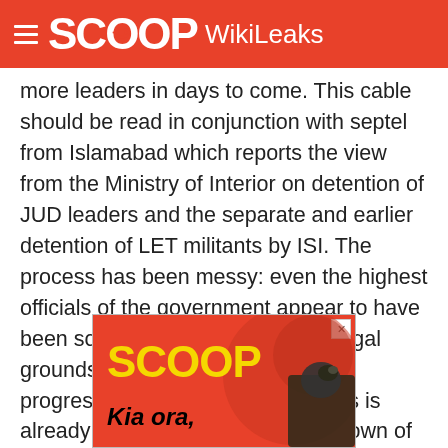SCOOP WikiLeaks
more leaders in days to come. This cable should be read in conjunction with septel from Islamabad which reports the view from the Ministry of Interior on detention of JUD leaders and the separate and earlier detention of LET militants by ISI. The process has been messy: even the highest officials of the government appear to have been somewhat confused by the legal grounds for the detentions and the progress of the captures. The press is already highly critical of the crackdown of JUD. End Summary.
[Figure (logo): SCOOP advertisement banner with yellow SCOOP logo on red background, text 'Kia ora,' and a bird photo on the right side]